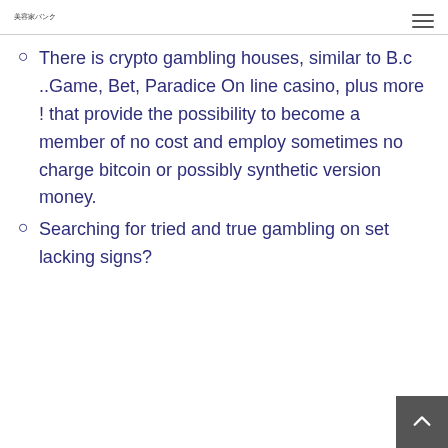美容家バンク
There is crypto gambling houses, similar to B.c ..Game, Bet, Paradice On line casino, plus more ! that provide the possibility to become a member of no cost and employ sometimes no charge bitcoin or possibly synthetic version money.
Searching for tried and true gambling on set lacking signs?